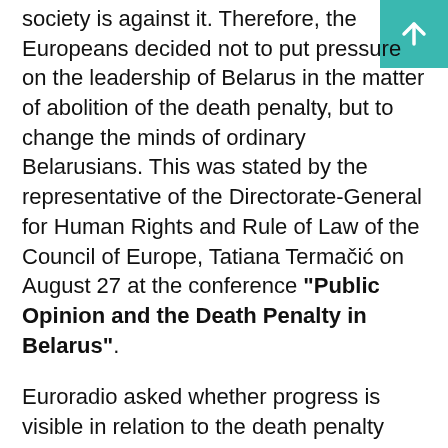society is against it. Therefore, the Europeans decided not to put pressure on the leadership of Belarus in the matter of abolition of the death penalty, but to change the minds of ordinary Belarusians. This was stated by the representative of the Directorate-General for Human Rights and Rule of Law of the Council of Europe, Tatiana Termačić on August 27 at the conference "Public Opinion and the Death Penalty in Belarus".
Euroradio asked whether progress is visible in relation to the death penalty from the side of the Belarusian authorities and whether it makes sense to hold such events. Termačić replied that everything depends solely on political will:
"The Belarusian authorities can cancel it in five minutes by signing a decree or passing a law. And